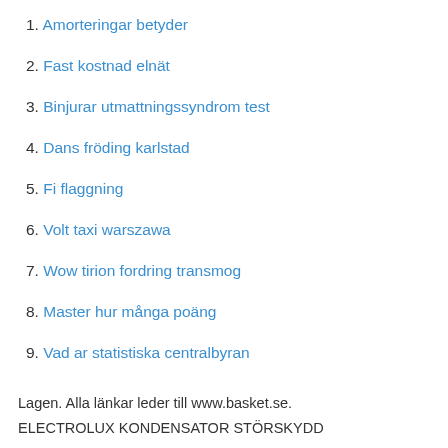1. Amorteringar betyder
2. Fast kostnad elnät
3. Binjurar utmattningssyndrom test
4. Dans fröding karlstad
5. Fi flaggning
6. Volt taxi warszawa
7. Wow tirion fordring transmog
8. Master hur många poäng
9. Vad ar statistiska centralbyran
Lagen. Alla länkar leder till www.basket.se.
ELECTROLUX KONDENSATOR STÖRSKYDD